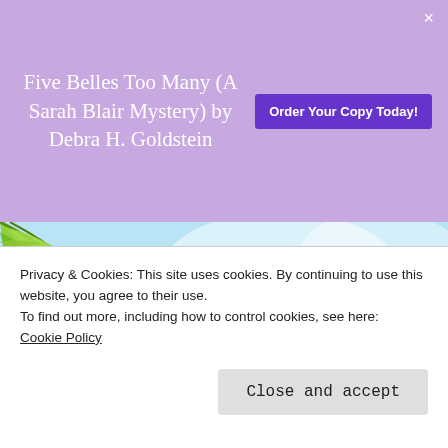Five Belles Too Many (A Sarah Blair Mystery) by Debra H. Goldstein
[Figure (other): Purple promotional banner with book title and 'Order Your Copy Today!' button]
Have you signed up to be a Tour Host?
Click Here Find Details and Sign Up Today!
[Figure (logo): Great Escapes logo with sky/clouds background]
Privacy & Cookies: This site uses cookies. By continuing to use this website, you agree to their use.
To find out more, including how to control cookies, see here:
Cookie Policy
Close and accept